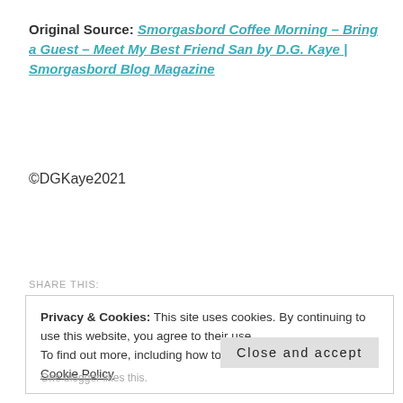Original Source: Smorgasbord Coffee Morning – Bring a Guest – Meet My Best Friend San by D.G. Kaye | Smorgasbord Blog Magazine
©DGKaye2021
SHARE THIS:
Privacy & Cookies: This site uses cookies. By continuing to use this website, you agree to their use. To find out more, including how to control cookies, see here: Cookie Policy
Close and accept
One blogger likes this.